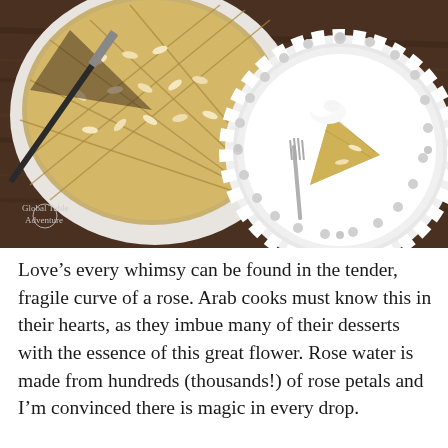[Figure (photo): Overhead food photograph showing a round baking dish with a scored almond cake (basbousa/semolina cake) with pine nuts on a dark wooden table, alongside a decorative white lace-edged plate holding a slice of the cake with a fork and a dollop of cream. Watermark reads 'Global Table Adventure' in lower left.]
Love's every whimsy can be found in the tender, fragile curve of a rose. Arab cooks must know this in their hearts, as they imbue many of their desserts with the essence of this great flower. Rose water is made from hundreds (thousands!) of rose petals and I'm convinced there is magic in every drop.